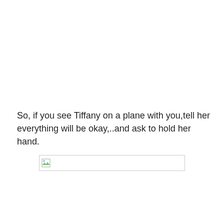So, if you see Tiffany on a plane with you,tell her everything will be okay,..and ask to hold her hand.
[Figure (other): Broken image placeholder — a small landscape/image icon with a thin rectangular border indicating a failed image load.]